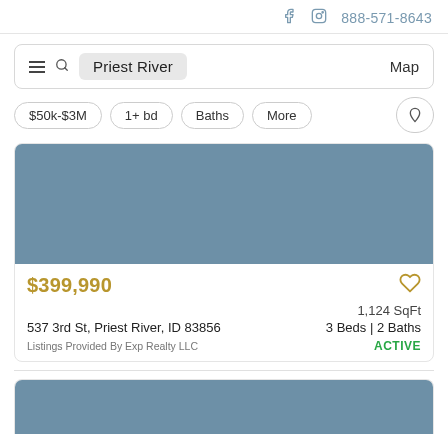f  [instagram]  888-571-8643
Priest River  Map
$50k-$3M  1+ bd  Baths  More
[Figure (photo): Placeholder listing photo with grey-blue background]
$399,990
1,124 SqFt
537 3rd St, Priest River, ID 83856   3 Beds | 2 Baths
Listings Provided By Exp Realty LLC   ACTIVE
[Figure (photo): Partial second listing photo with grey-blue background]